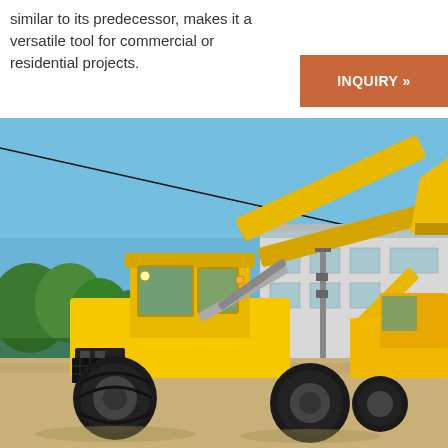similar to its predecessor, makes it a versatile tool for commercial or residential projects.
[Figure (other): Button/CTA element with text 'INQUIRY »' on a brownish-orange background]
[Figure (photo): Outdoor photograph of a yellow construction wheel loader machine parked in front of an industrial building under a clear blue sky. Chinese signage visible in background along with green trees.]